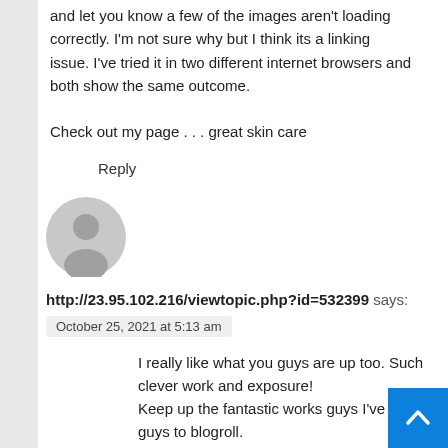and let you know a few of the images aren't loading correctly. I'm not sure why but I think its a linking issue. I've tried it in two different internet browsers and both show the same outcome.

Check out my page . . . great skin care
Reply
[Figure (illustration): Generic gray user avatar icon — a circle with a silhouette of a person]
http://23.95.102.216/viewtopic.php?id=532399 says:
October 25, 2021 at 5:13 am
I really like what you guys are up too. Such clever work and exposure! Keep up the fantastic works guys I've yo guys to blogroll.